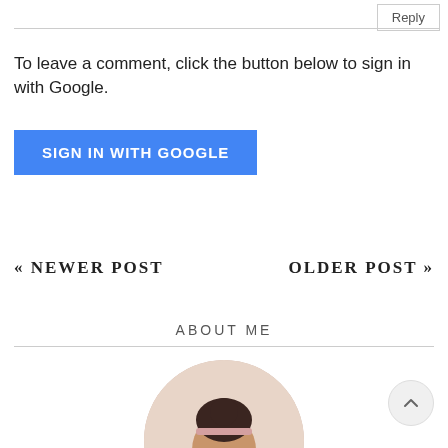Reply
To leave a comment, click the button below to sign in with Google.
SIGN IN WITH GOOGLE
« NEWER POST
OLDER POST »
ABOUT ME
[Figure (photo): Circular profile photo of a young woman with dark hair in a bun wearing a floral headband, photographed against a light background.]